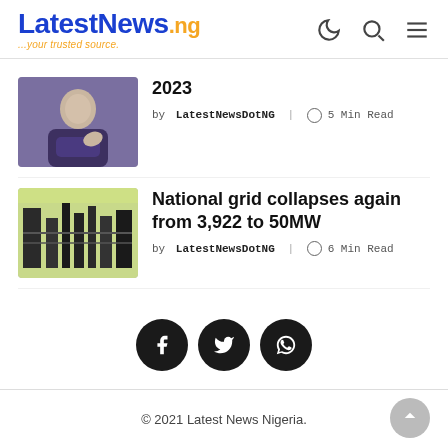LatestNews.ng ...your trusted source.
[Figure (photo): Person in dark clothing gesturing, purple/blue background]
2023
by LatestNewsDotNG | 5 Min Read
[Figure (photo): Electrical grid/substation infrastructure with yellow sky background]
National grid collapses again from 3,922 to 50MW
by LatestNewsDotNG | 6 Min Read
[Figure (infographic): Social share buttons: Facebook, Twitter, WhatsApp]
© 2021 Latest News Nigeria.